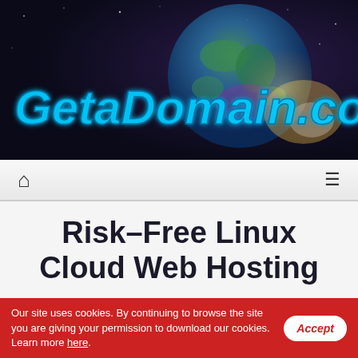[Figure (logo): GetaDomain.com.au website header banner with space/earth background image and large cyan italic text logo]
Navigation bar with home icon and hamburger menu icon
Risk–Free Linux Cloud Web Hosting
With Dialoz.com, you can take advantage of a truly trouble–free cloud hosting service, 99.9% server
Our site uses cookies. By continuing to browse the site you are giving your permission to download our cookies. Learn more here.